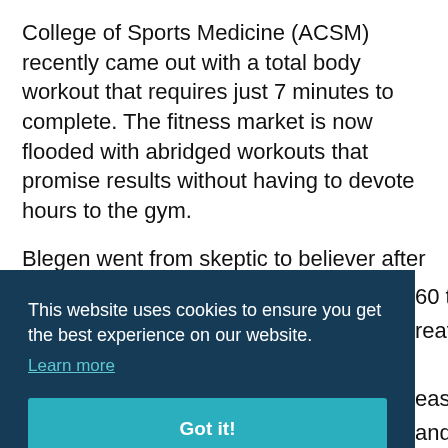College of Sports Medicine (ACSM) recently came out with a total body workout that requires just 7 minutes to complete. The fitness market is now flooded with abridged workouts that promise results without having to devote hours to the gym.
Blegen went from skeptic to believer after seeing the amount and quality of studies coming out on high-intensity interval training.
This website uses cookies to ensure you get the best experience on our website. Learn more Got it!